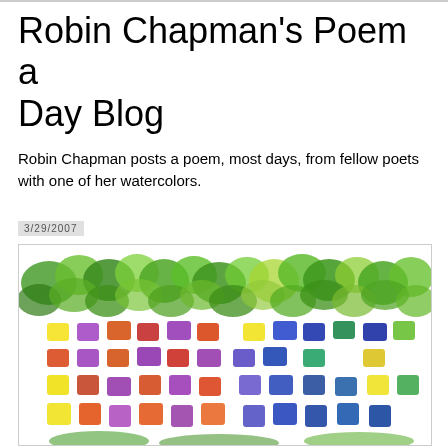Robin Chapman's Poem a Day Blog
Robin Chapman posts a poem, most days, from fellow poets with one of her watercolors.
3/29/2007
[Figure (illustration): A watercolor painting showing colorful abstract blocks arranged in horizontal rows — green leafy brushstrokes across the top, and rows of multicolored rectangular patches (yellow, purple, orange, red, blue, green) below on a white background.]